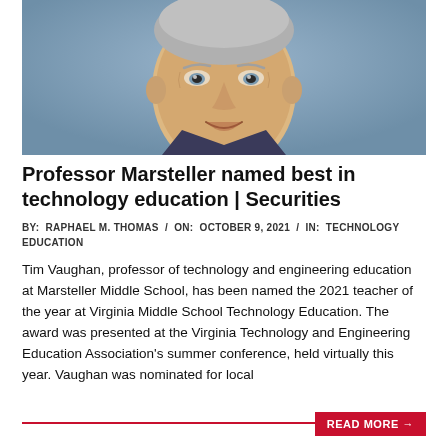[Figure (photo): Close-up headshot of a middle-aged man with short grey hair, smiling, against a blue-grey background]
Professor Marsteller named best in technology education | Securities
BY: RAPHAEL M. THOMAS / ON: OCTOBER 9, 2021 / IN: TECHNOLOGY EDUCATION
Tim Vaughan, professor of technology and engineering education at Marsteller Middle School, has been named the 2021 teacher of the year at Virginia Middle School Technology Education. The award was presented at the Virginia Technology and Engineering Education Association's summer conference, held virtually this year. Vaughan was nominated for local